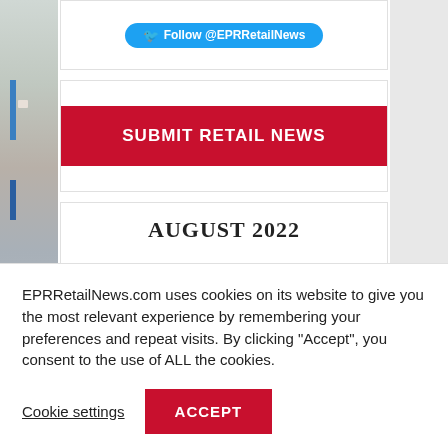[Figure (other): Twitter follow button showing '@EPRRetailNews']
[Figure (other): Red button labeled SUBMIT RETAIL NEWS]
| M | T | W | T | F | S | S |
| --- | --- | --- | --- | --- | --- | --- |
| 1 | 2 | 3 | 4 | 5 | 6 | 7 |
EPRRetailNews.com uses cookies on its website to give you the most relevant experience by remembering your preferences and repeat visits. By clicking “Accept”, you consent to the use of ALL the cookies.
Cookie settings
ACCEPT